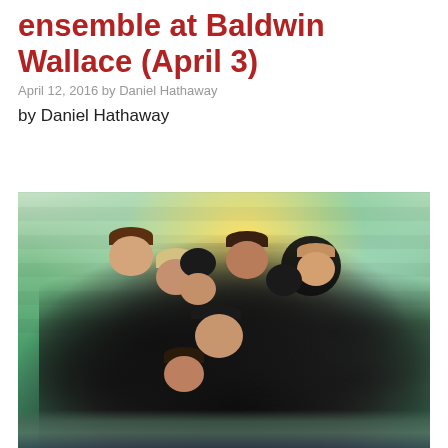ensemble at Baldwin Wallace (April 3)
April 12, 2016 by Daniel Hathaway
by Daniel Hathaway
[Figure (photo): Group photo of approximately 8-9 people dressed in black, clustered together on a colorful painted floor with a teal, yellow, and green painted brick wall backdrop. They are arranged in a close huddle with some lying down.]